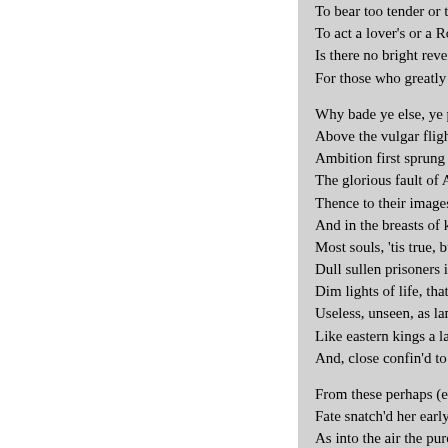To bear too tender or too fir
To act a lover's or a Roman'
Is there no bright reversion 
For those who greatly think

 Why bade ye else, ye pow'r
Above the vulgar flight of l
Ambition first sprung from 
The glorious fault of Angels
Thence to their images on e
And in the breasts of kings 
Most souls, 'tis true, but pe
Dull sullen prisoners in the 
Dim lights of life, that burn
Useless, unseen, as lamps i
Like eastern kings a lazy sta
And, close confin'd to their

 From these perhaps (ere na
Fate snatch'd her early to th
As into the air the purer spi
And separate from their kin
So flew the soul to its cong
Nor left one virtue to redee